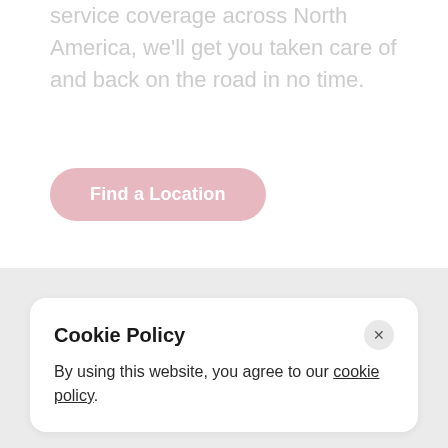service coverage across North America, we'll get you taken care of and back on the road in no time.
[Figure (other): Pink rounded pill-shaped button labeled 'Find a Location']
Cookie Policy
By using this website, you agree to our cookie policy.